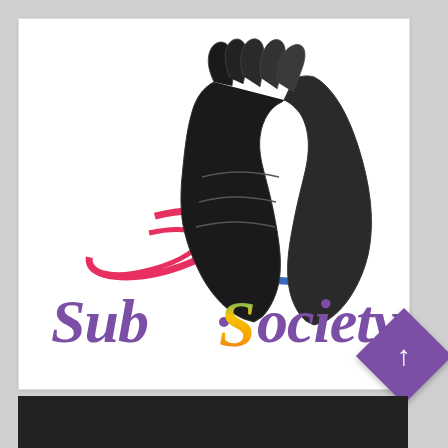[Figure (logo): SubSociety logo: praying hands illustration in black and white with a red swirl on the left and a blue swirl on the right, above the text 'SubSociety' in purple gradient lettering with a multicolor rainbow 'o' in the middle]